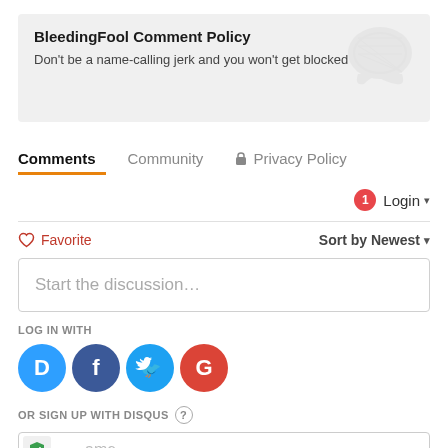BleedingFool Comment Policy
Don't be a name-calling jerk and you won't get blocked
Comments  Community  Privacy Policy
Login
Favorite  Sort by Newest
Start the discussion...
LOG IN WITH
[Figure (logo): Social login icons: Disqus (blue), Facebook (dark blue), Twitter (light blue), Google (red)]
OR SIGN UP WITH DISQUS
Name